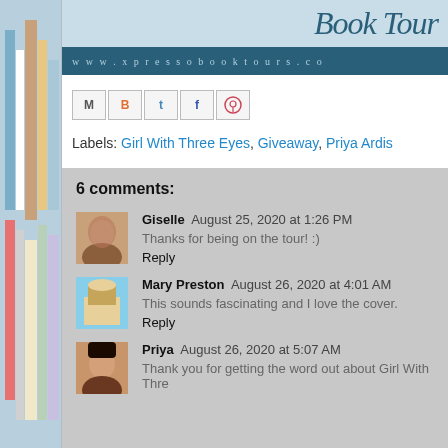[Figure (screenshot): Xpresso Book Tours banner logo with script text and URL bar showing www.xpressobooktours.co]
[Figure (other): Social share buttons: Email (M), Blogger (B), Twitter (t), Facebook (f), Pinterest (circle pin icon)]
Labels: Girl With Three Eyes, Giveaway, Priya Ardis
6 comments:
Giselle  August 25, 2020 at 1:26 PM
Thanks for being on the tour! :)
Reply
Mary Preston  August 26, 2020 at 4:01 AM
This sounds fascinating and I love the cover.
Reply
Priya  August 26, 2020 at 5:07 AM
Thank you for getting the word out about Girl With Thre